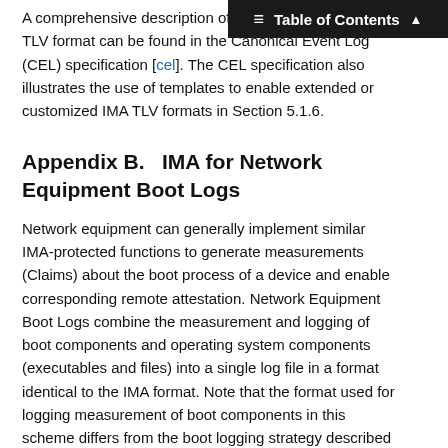A comprehensive description of the native Linux IMA TLV format can be found in the Canonical Event Log (CEL) specification [cel]. The CEL specification also illustrates the use of templates to enable extended or customized IMA TLV formats in Section 5.1.6.
Appendix B.   IMA for Network Equipment Boot Logs
Network equipment can generally implement similar IMA-protected functions to generate measurements (Claims) about the boot process of a device and enable corresponding remote attestation. Network Equipment Boot Logs combine the measurement and logging of boot components and operating system components (executables and files) into a single log file in a format identical to the IMA format. Note that the format used for logging measurement of boot components in this scheme differs from the boot logging strategy described elsewhere in this document.
During the boot process of the network device, i.e., from